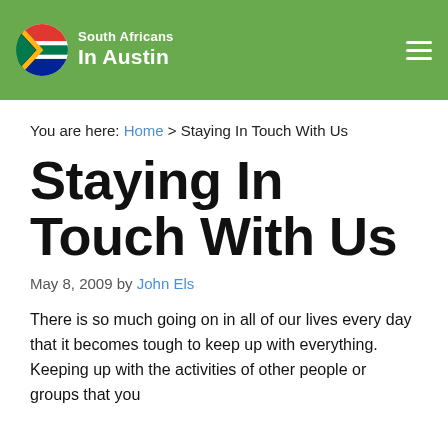South Africans In Austin
You are here: Home > Staying In Touch With Us
Staying In Touch With Us
May 8, 2009 by John Els
There is so much going on in all of our lives every day that it becomes tough to keep up with everything. Keeping up with the activities of other people or groups that you